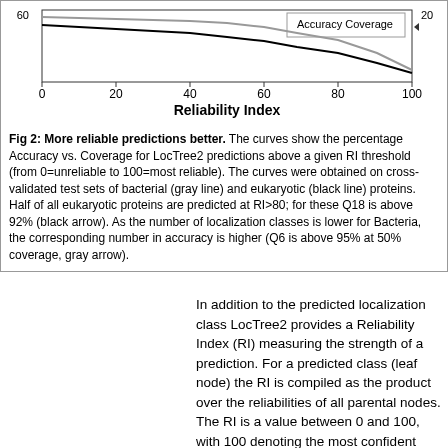[Figure (continuous-plot): Line chart showing Accuracy vs Coverage for LocTree2 predictions above a given Reliability Index (RI) threshold (0=unreliable to 100=most reliable). Two curves: gray line for bacterial proteins and black line for eukaryotic proteins. X-axis labeled 'Reliability Index' with ticks at 0, 20, 40, 60, 80, 100. Arrows indicate Q18 above 92% for eukaryotic at RI>80 (black arrow) and Q6 above 95% for bacterial at 50% coverage (gray arrow). Y-axes on both sides.]
Fig 2: More reliable predictions better. The curves show the percentage Accuracy vs. Coverage for LocTree2 predictions above a given RI threshold (from 0=unreliable to 100=most reliable). The curves were obtained on cross-validated test sets of bacterial (gray line) and eukaryotic (black line) proteins. Half of all eukaryotic proteins are predicted at RI>80; for these Q18 is above 92% (black arrow). As the number of localization classes is lower for Bacteria, the corresponding number in accuracy is higher (Q6 is above 95% at 50% coverage, gray arrow).
In addition to the predicted localization class LocTree2 provides a Reliability Index (RI) measuring the strength of a prediction. For a predicted class (leaf node) the RI is compiled as the product over the reliabilities of all parental nodes. The RI is a value between 0 and 100, with 100 denoting the most confident predictions.
We rigorously evaluated the reliability of LocTree2 predictions on a non-redundant test set of proteins (Fig. 2). We observed that 50% of eukaryotic proteins at a higher reliability index...